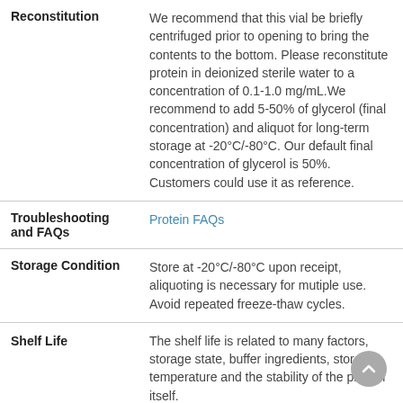| Field | Content |
| --- | --- |
| Reconstitution | We recommend that this vial be briefly centrifuged prior to opening to bring the contents to the bottom. Please reconstitute protein in deionized sterile water to a concentration of 0.1-1.0 mg/mL.We recommend to add 5-50% of glycerol (final concentration) and aliquot for long-term storage at -20°C/-80°C. Our default final concentration of glycerol is 50%. Customers could use it as reference. |
| Troubleshooting and FAQs | Protein FAQs |
| Storage Condition | Store at -20°C/-80°C upon receipt, aliquoting is necessary for mutiple use. Avoid repeated freeze-thaw cycles. |
| Shelf Life | The shelf life is related to many factors, storage state, buffer ingredients, storage temperature and the stability of the protein itself.
Generally, the shelf life of liquid form is 6 months at -20°C/-80°C. The shelf life of lyophilized form is 12 months at |